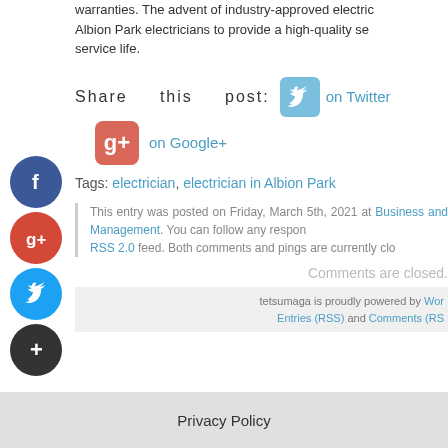warranties. The advent of industry-approved electricians to provide a high-quality service life.
Share this post: on Twitter
on Google+
Tags: electrician, electrician in Albion Park
This entry was posted on Friday, March 5th, 2021 at Business and Management. You can follow any responses RSS 2.0 feed. Both comments and pings are currently closed.
Comments are closed.
tetsumaga is proudly powered by WordPress. Entries (RSS) and Comments (RSS)
Privacy Policy